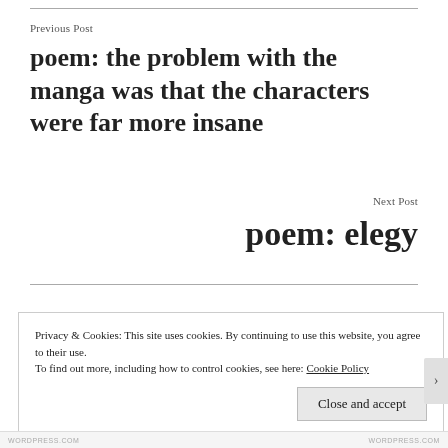Previous Post
poem: the problem with the manga was that the characters were far more insane
Next Post
poem: elegy
Privacy & Cookies: This site uses cookies. By continuing to use this website, you agree to their use.
To find out more, including how to control cookies, see here: Cookie Policy
Close and accept